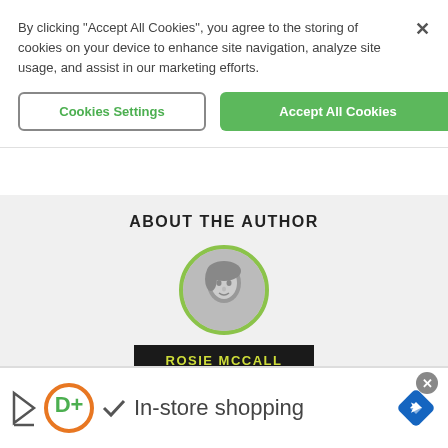By clicking "Accept All Cookies", you agree to the storing of cookies on your device to enhance site navigation, analyze site usage, and assist in our marketing efforts.
Cookies Settings
Accept All Cookies
ABOUT THE AUTHOR
[Figure (photo): Circular author avatar photo of Rosie McCall, a woman in grayscale, framed with a lime green border]
ROSIE MCCALL
[Figure (infographic): Advertisement banner showing colorful icons (play button, D+ logo, checkmark) and text 'In-store shopping' with navigation arrow icon on the right]